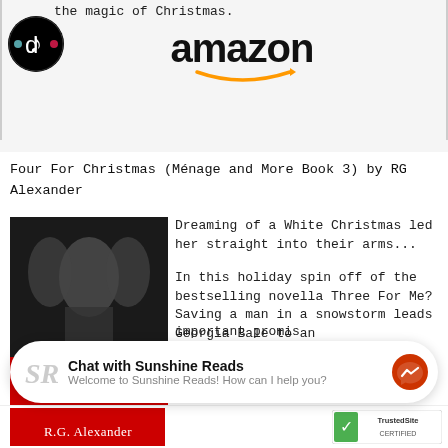the magic of Christmas.
[Figure (logo): TikTok app icon — black circle with TikTok logo in white and teal]
[Figure (logo): Amazon logo in black with orange smile arrow]
Four For Christmas (Ménage and More Book 3) by RG Alexander
[Figure (photo): Book cover for Four For Christmas by R.G. Alexander showing three figures in black and white with red elements at the bottom]
Dreaming of a White Christmas led her straight into their arms...

In this holiday spin off of the bestselling novella Three For Me? Saving a man in a snowstorm leads Georgia Bale to an
important promis keep. A promise G
[Figure (logo): SR Sunshine Reads logo — handwritten SR initials in light grey]
Chat with Sunshine Reads
Welcome to Sunshine Reads! How can I help you?
[Figure (logo): Facebook Messenger icon — blue circle with white lightning bolt chat bubble]
[Figure (logo): TrustedSite badge with green checkmark]